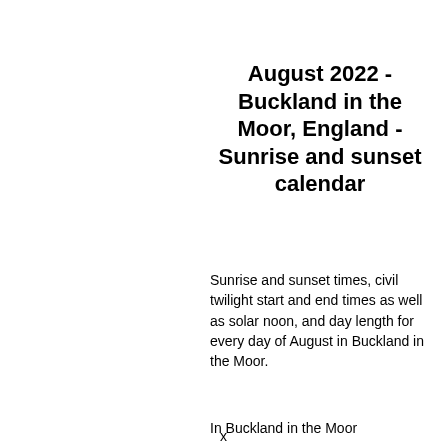August 2022 - Buckland in the Moor, England - Sunrise and sunset calendar
Sunrise and sunset times, civil twilight start and end times as well as solar noon, and day length for every day of August in Buckland in the Moor.
In Buckland in the Moor...